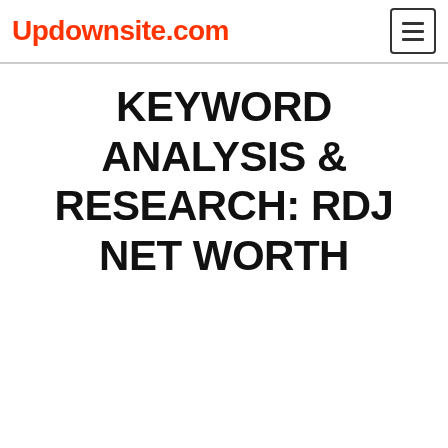Updownsite.com
KEYWORD ANALYSIS & RESEARCH: RDJ NET WORTH